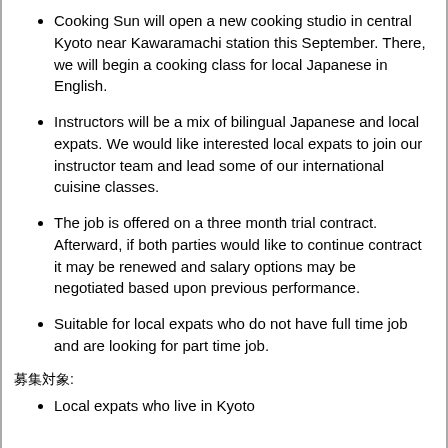Cooking Sun will open a new cooking studio in central Kyoto near Kawaramachi station this September. There, we will begin a cooking class for local Japanese in English.
Instructors will be a mix of bilingual Japanese and local expats. We would like interested local expats to join our instructor team and lead some of our international cuisine classes.
The job is offered on a three month trial contract. Afterward, if both parties would like to continue contract it may be renewed and salary options may be negotiated based upon previous performance.
Suitable for local expats who do not have full time job and are looking for part time job.
募集対象:
Local expats who live in Kyoto